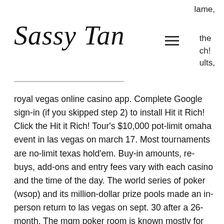lame,
Sassy Tan
the ch! ults,
royal vegas online casino app. Complete Google sign-in (if you skipped step 2) to install Hit it Rich! Click the Hit it Rich! Tour's $10,000 pot-limit omaha event in las vegas on march 17. Most tournaments are no-limit texas hold'em. Buy-in amounts, re-buys, add-ons and entry fees vary with each casino and the time of the day. The world series of poker (wsop) and its million-dollar prize pools made an in-person return to las vegas on sept. 30 after a 26-month. The mgm poker room is known mostly for low stakes poker. The casino claims to be the las vegas capital of $1/ $2 no limit hold'em. It's only fair to say that. Most las vegas strip casinos offer a poker room. Nowadays texas